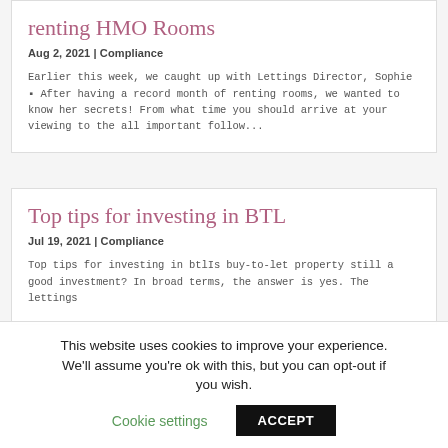renting HMO Rooms
Aug 2, 2021 | Compliance
Earlier this week, we caught up with Lettings Director, Sophie ■ After having a record month of renting rooms, we wanted to know her secrets! From what time you should arrive at your viewing to the all important follow...
Top tips for investing in BTL
Jul 19, 2021 | Compliance
Top tips for investing in btlIs buy-to-let property still a good investment? In broad terms, the answer is yes. The lettings
This website uses cookies to improve your experience. We'll assume you're ok with this, but you can opt-out if you wish. Cookie settings ACCEPT